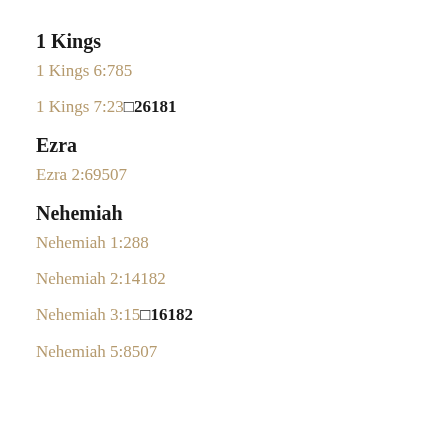1 Kings
1 Kings 6:785
1 Kings 7:23□26181
Ezra
Ezra 2:69507
Nehemiah
Nehemiah 1:288
Nehemiah 2:14182
Nehemiah 3:15□16182
Nehemiah 5:8507